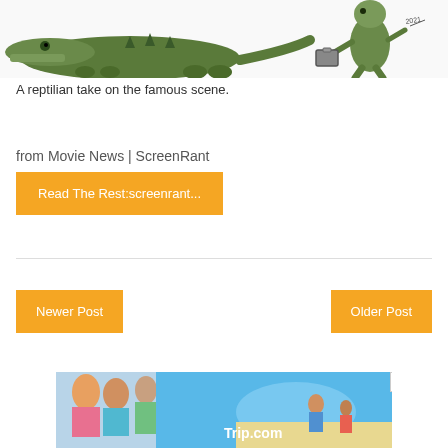[Figure (illustration): Cartoon illustration of crocodile/reptile characters in a parody of a famous scene; one large green crocodile on the left, a bipedal reptile character on the right carrying a briefcase, dated 2021.]
A reptilian take on the famous scene.
from Movie News | ScreenRant
Read The Rest:screenrant...
Newer Post
Older Post
[Figure (photo): Trip.com advertisement banner showing travel photos collaged together including people in colorful clothing, beach/ocean scenes, and family; blue triangle with Trip.com text visible.]